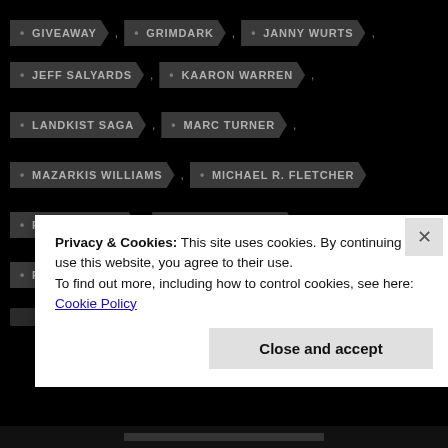GIVEAWAY
GRIMDARK
JANNY WURTS
JEFF SALYARDS
KAARON WARREN
LANDKIST SAGA
MARC TURNER
MAZARKIS WILLIAMS
MICHAEL R. FLETCHER
PEN ASTRIDGE
PETER ORULLIAN
R. SCOTT BAKKER
SHAWN SPEAKMAN
Privacy & Cookies: This site uses cookies. By continuing to use this website, you agree to their use.
To find out more, including how to control cookies, see here: Cookie Policy
Close and accept